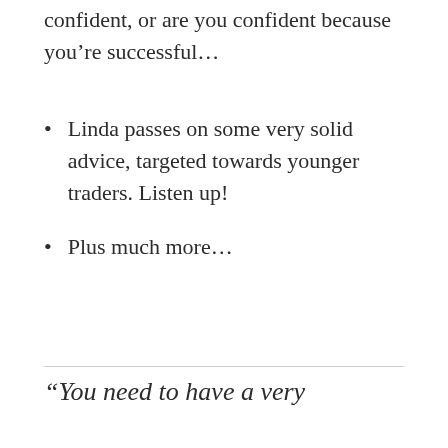confident, or are you confident because you’re successful…
Linda passes on some very solid advice, targeted towards younger traders. Listen up!
Plus much more…
“You need to have a very